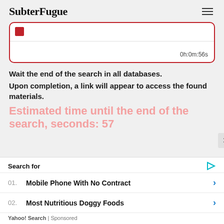SubterFugue
[Figure (screenshot): Video player card with red border, red square icon, horizontal divider line, and timer showing 0h:0m:56s]
Wait the end of the search in all databases.
Upon completion, a link will appear to access the found materials.
Estimated time until the end of the search, seconds: 57
Search for
01. Mobile Phone With No Contract
02. Most Nutritious Doggy Foods
Yahoo! Search | Sponsored